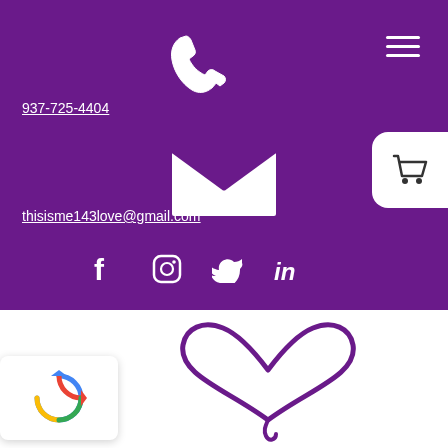[Figure (other): Hamburger menu icon (three horizontal white lines) in top right of purple header]
[Figure (other): White phone handset icon centered in purple header top area]
937-725-4404
[Figure (other): White envelope/email icon centered in purple section middle area]
[Figure (other): Shopping cart icon inside white rounded rectangle button on right side]
thisisme143love@gmail.com
[Figure (other): Social media icons row: Facebook (f), Instagram (camera), Twitter (bird), LinkedIn (in) in white on purple background]
[Figure (other): reCAPTCHA widget box with colorful circular arrow logo in bottom left corner of white section]
[Figure (illustration): Purple stylized heart shape logo/illustration in white section lower right]